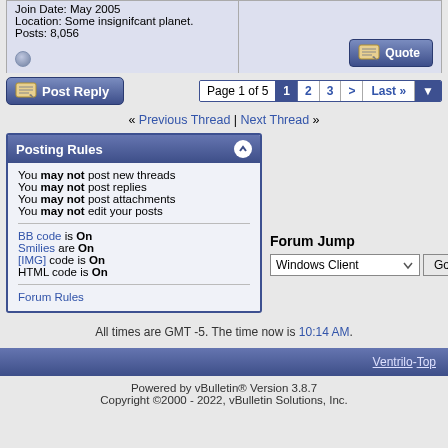Join Date: May 2005
Location: Some insignifcant planet.
Posts: 8,056
« Previous Thread | Next Thread »
Posting Rules
You may not post new threads
You may not post replies
You may not post attachments
You may not edit your posts
BB code is On
Smilies are On
[IMG] code is On
HTML code is On
Forum Rules
Forum Jump
Windows Client
All times are GMT -5. The time now is 10:14 AM.
Ventrilo - Top
Powered by vBulletin® Version 3.8.7
Copyright ©2000 - 2022, vBulletin Solutions, Inc.